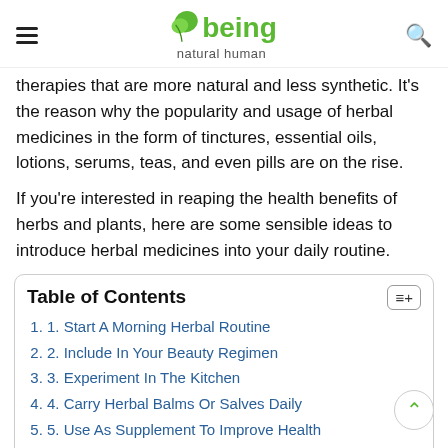being natural human
therapies that are more natural and less synthetic. It's the reason why the popularity and usage of herbal medicines in the form of tinctures, essential oils, lotions, serums, teas, and even pills are on the rise.
If you're interested in reaping the health benefits of herbs and plants, here are some sensible ideas to introduce herbal medicines into your daily routine.
Table of Contents
1. Start A Morning Herbal Routine
2. Include In Your Beauty Regimen
3. Experiment In The Kitchen
4. Carry Herbal Balms Or Salves Daily
5. Use As Supplement To Improve Health
6. Use Herbal Medicine To Spice Up Your Sex Life
7. Blast Away Seasonal Blues With Herbs